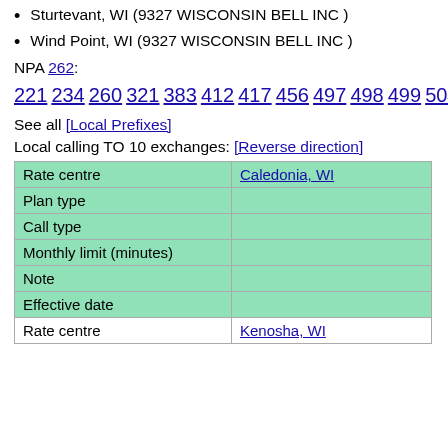Sturtevant, WI (9327 WISCONSIN BELL INC )
Wind Point, WI (9327 WISCONSIN BELL INC )
NPA 262:
221 234 260 321 383 412 417 456 497 498 499 504 554 583 598 619 631 632 633 634 635 636 637 638 639 664 672 676 681 687 721 734 752 770 800 822 833 865 880 884 886 898 900 902 977 994 995
See all [Local Prefixes]
Local calling TO 10 exchanges: [Reverse direction]
| Rate centre | Caledonia, WI |
| --- | --- |
| Plan type |  |
| Call type |  |
| Monthly limit (minutes) |  |
| Note |  |
| Effective date |  |
| Rate centre | Kenosha, WI |